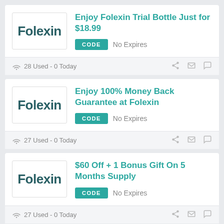[Figure (logo): Folexin brand logo in dark teal bold text]
Enjoy Folexin Trial Bottle Just for $18.99
CODE   No Expires
28 Used - 0 Today
[Figure (logo): Folexin brand logo in dark teal bold text]
Enjoy 100% Money Back Guarantee at Folexin
CODE   No Expires
27 Used - 0 Today
[Figure (logo): Folexin brand logo in dark teal bold text]
$60 Off + 1 Bonus Gift On 5 Months Supply
CODE   No Expires
27 Used - 0 Today